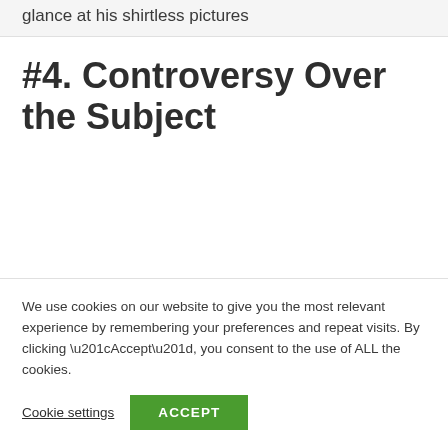glance at his shirtless pictures
#4. Controversy Over the Subject
We use cookies on our website to give you the most relevant experience by remembering your preferences and repeat visits. By clicking “Accept”, you consent to the use of ALL the cookies.
Cookie settings   ACCEPT